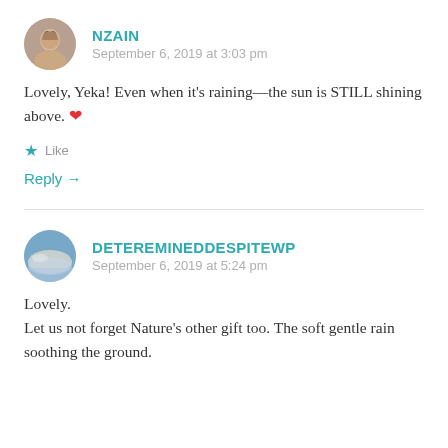NZAIN
September 6, 2019 at 3:03 pm
Lovely, Yeka! Even when it’s raining—the sun is STILL shining above. ❤
★ Like
Reply →
DETEREMINEDDESPITEWP
September 6, 2019 at 5:24 pm
Lovely.
Let us not forget Nature’s other gift too. The soft gentle rain soothing the ground.